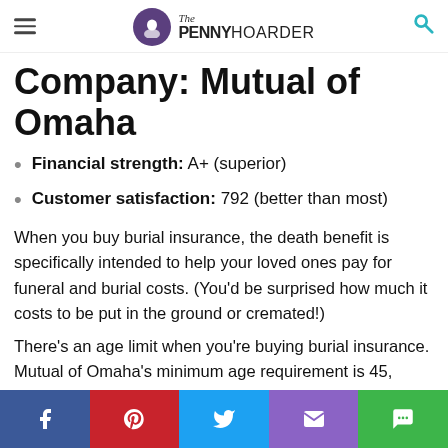The PENNY HOARDER
Company: Mutual of Omaha
Financial strength: A+ (superior)
Customer satisfaction: 792 (better than most)
When you buy burial insurance, the death benefit is specifically intended to help your loved ones pay for funeral and burial costs. (You'd be surprised how much it costs to be put in the ground or cremated!)
There's an age limit when you're buying burial insurance. Mutual of Omaha's minimum age requirement is 45, while many companies' don't start until age 50. If you want to get a jump on things, Mutual of Omaha is a great choice.
Because it's primarily intended for funeral and burial costs